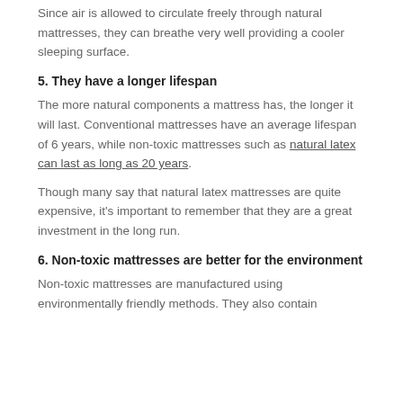Since air is allowed to circulate freely through natural mattresses, they can breathe very well providing a cooler sleeping surface.
5. They have a longer lifespan
The more natural components a mattress has, the longer it will last. Conventional mattresses have an average lifespan of 6 years, while non-toxic mattresses such as natural latex can last as long as 20 years.
Though many say that natural latex mattresses are quite expensive, it's important to remember that they are a great investment in the long run.
6. Non-toxic mattresses are better for the environment
Non-toxic mattresses are manufactured using environmentally friendly methods. They also contain